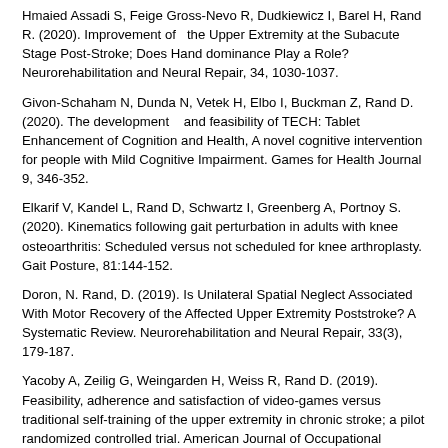Hmaied Assadi S, Feige Gross-Nevo R, Dudkiewicz I, Barel H, Rand R. (2020). Improvement of  the Upper Extremity at the Subacute Stage Post-Stroke; Does Hand dominance Play a Role? Neurorehabilitation and Neural Repair, 34, 1030-1037.
Givon-Schaham N, Dunda N, Vetek H, Elbo I, Buckman Z, Rand D.  (2020). The development   and feasibility of TECH: Tablet Enhancement of Cognition and Health, A novel cognitive intervention for people with Mild Cognitive Impairment. Games for Health Journal 9, 346-352.
Elkarif V, Kandel L, Rand D, Schwartz I, Greenberg A, Portnoy S. (2020). Kinematics following gait perturbation in adults with knee osteoarthritis: Scheduled versus not scheduled for knee arthroplasty. Gait Posture, 81:144-152.
Doron, N. Rand, D. (2019). Is Unilateral Spatial Neglect Associated With Motor Recovery of the Affected Upper Extremity Poststroke? A Systematic Review. Neurorehabilitation and Neural Repair, 33(3), 179-187.
Yacoby A, Zeilig G, Weingarden H, Weiss R, Rand D. (2019). Feasibility, adherence and satisfaction of video-games versus traditional self-training of the upper extremity in chronic stroke; a pilot randomized controlled trial. American Journal of Occupational Therapy, 37(1); 1-14.
Cohen Y, Zisberg A, Chayat Y, Gur-Yaish N, Gil E, Levin C, Rand D, Agmon M. (2019). Walking for better outcomes and recovery: The effect of WALK-FOR in preventing Hospital – associated